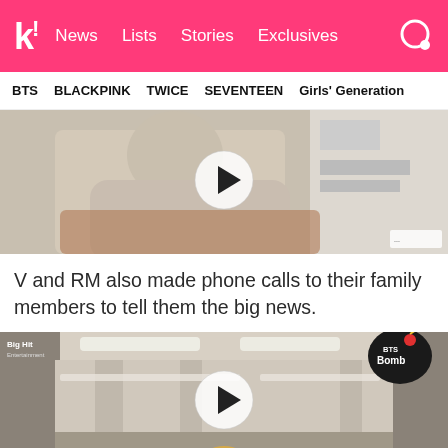k! News Lists Stories Exclusives
BTS  BLACKPINK  TWICE  SEVENTEEN  Girls' Generation
[Figure (screenshot): Video thumbnail showing two people in a room, one in a beige hoodie and one in a black outfit; play button overlay in center]
V and RM also made phone calls to their family members to tell them the big news.
[Figure (screenshot): Video thumbnail showing a bright interior corridor/lobby scene with a person in the foreground; Big Hit Entertainment and BTS Bomb logos visible; play button overlay in center]